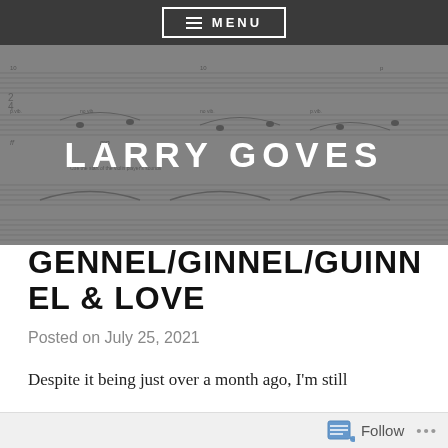MENU
[Figure (illustration): Music score sheet shown as a banner image background with semi-transparent dark overlay, displaying the site title LARRY GOVES in large white bold letters]
GENNEL/GINNEL/GUINNEL & LOVE
Posted on July 25, 2021
Despite it being just over a month ago, I'm still